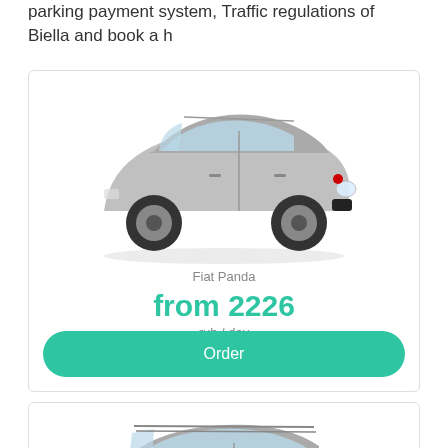parking payment system, Traffic regulations of Biella and book a h
[Figure (photo): Fiat Panda compact car, silver/grey color, shown at a 3/4 front angle]
Fiat Panda
from 2226
rub / day
Order
[Figure (photo): Jeep Renegade SUV, silver/grey color, shown at a 3/4 front angle]